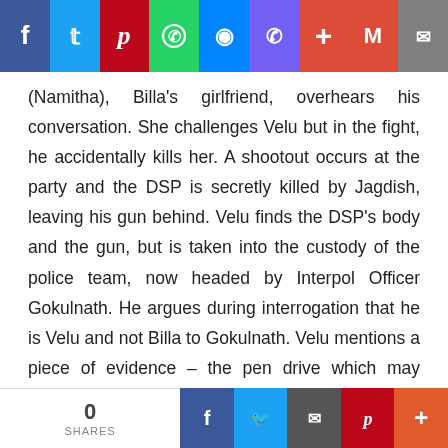Social share bar with icons: Facebook, Twitter, Pinterest, WhatsApp, Messenger, Viber, Plus, Gmail, Email
(Namitha), Billa's girlfriend, overhears his conversation. She challenges Velu but in the fight, he accidentally kills her. A shootout occurs at the party and the DSP is secretly killed by Jagdish, leaving his gun behind. Velu finds the DSP's body and the gun, but is taken into the custody of the police team, now headed by Interpol Officer Gokulnath. He argues during interrogation that he is Velu and not Billa to Gokulnath. Velu mentions a piece of evidence – the pen drive which may prove his innocence but the pen drive is nowhere to be found.
0 SHARES | Facebook | Twitter | Email | Pinterest | Plus